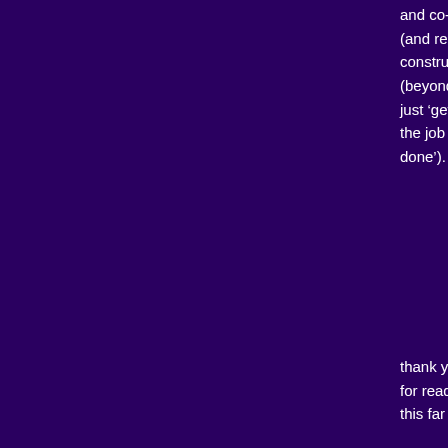and co- (and re-) construction (beyond just ‘getting the job done’).
thank you for reading this far :-)
Technorati Tags: avatar, behaviourism, cognition, constructivism, education, games, learning, Second Life, TLLM
June 16, 2009 in cognitive